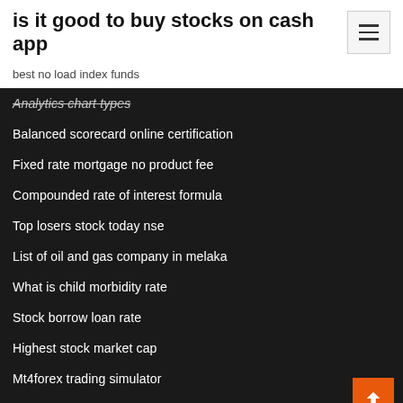is it good to buy stocks on cash app
best no load index funds
Analytics chart types
Balanced scorecard online certification
Fixed rate mortgage no product fee
Compounded rate of interest formula
Top losers stock today nse
List of oil and gas company in melaka
What is child morbidity rate
Stock borrow loan rate
Highest stock market cap
Mt4forex trading simulator
How much is one share of berkshire hathaway stock today